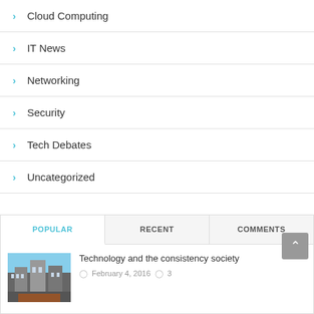Cloud Computing
IT News
Networking
Security
Tech Debates
Uncategorized
POPULAR | RECENT | COMMENTS
[Figure (photo): City street with tall buildings and people]
Technology and the consistency society
February 4, 2016  3